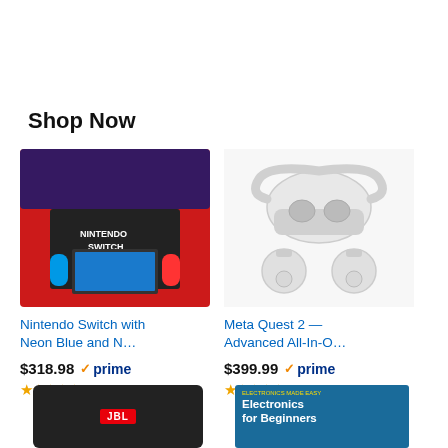Shop Now
[Figure (photo): Nintendo Switch console box with Neon Blue and Neon Red Joy-Con controllers]
Nintendo Switch with Neon Blue and N…
$318.98 ✓prime ★★★★★ (123125)
[Figure (photo): Meta Quest 2 VR headset with two controllers]
Meta Quest 2 — Advanced All-In-O…
$399.99 ✓prime ★★★★★ (65304)
[Figure (photo): JBL black speaker in carrying case (partial, bottom of page)]
[Figure (photo): Electronics for Beginners book cover (partial, bottom of page)]